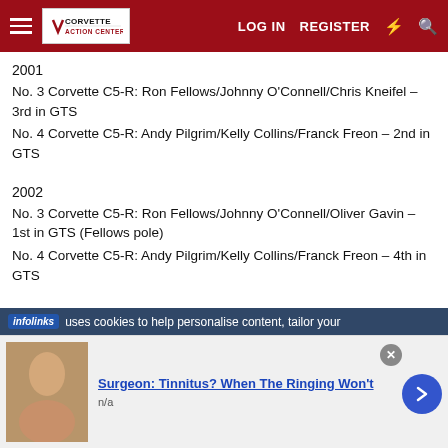Corvette Action Center — LOG IN | REGISTER
2001
No. 3 Corvette C5-R: Ron Fellows/Johnny O'Connell/Chris Kneifel – 3rd in GTS
No. 4 Corvette C5-R: Andy Pilgrim/Kelly Collins/Franck Freon – 2nd in GTS
2002
No. 3 Corvette C5-R: Ron Fellows/Johnny O'Connell/Oliver Gavin – 1st in GTS (Fellows pole)
No. 4 Corvette C5-R: Andy Pilgrim/Kelly Collins/Franck Freon – 4th in GTS
infolinks — uses cookies to help personalise content, tailor your
Surgeon: Tinnitus? When The Ringing Won't
n/a